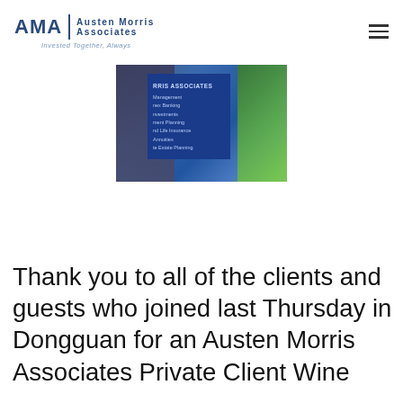AMA | Austen Morris Associates — Invested Together, Always
[Figure (photo): A blue AMA / Austen Morris Associates pull-up banner stand showing services including Management, Banking, Investments, Retirement Planning, Life Insurance, Annuities, Estate Planning, with two people standing beside it.]
Thank you to all of the clients and guests who joined last Thursday in Dongguan for an Austen Morris Associates Private Client Wine